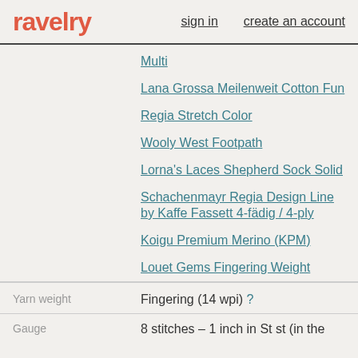ravelry | sign in | create an account
Multi
Lana Grossa Meilenweit Cotton Fun
Regia Stretch Color
Wooly West Footpath
Lorna's Laces Shepherd Sock Solid
Schachenmayr Regia Design Line by Kaffe Fassett 4-fädig / 4-ply
Koigu Premium Merino (KPM)
Louet Gems Fingering Weight
Yarn weight: Fingering (14 wpi) ?
Gauge: 8 stitches – 1 inch in St st (in the